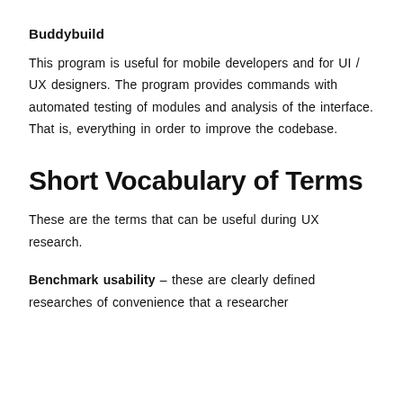Buddybuild
This program is useful for mobile developers and for UI / UX designers. The program provides commands with automated testing of modules and analysis of the interface. That is, everything in order to improve the codebase.
Short Vocabulary of Terms
These are the terms that can be useful during UX research.
Benchmark usability – these are clearly defined researches of convenience that a researcher